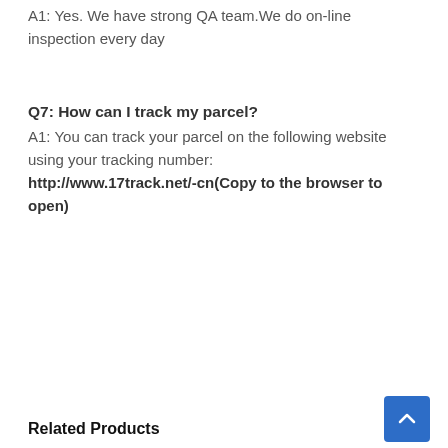A1: Yes. We have strong QA team.We do on-line inspection every day
Q7: How can I track my parcel?
A1: You can track your parcel on the following website using your tracking number: http://www.17track.net/-cn(Copy to the browser to open)
Related Products